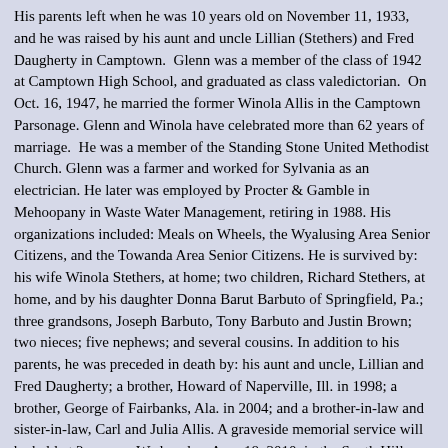His parents left when he was 10 years old on November 11, 1933, and he was raised by his aunt and uncle Lillian (Stethers) and Fred Daugherty in Camptown. Glenn was a member of the class of 1942 at Camptown High School, and graduated as class valedictorian. On Oct. 16, 1947, he married the former Winola Allis in the Camptown Parsonage. Glenn and Winola have celebrated more than 62 years of marriage. He was a member of the Standing Stone United Methodist Church. Glenn was a farmer and worked for Sylvania as an electrician. He later was employed by Procter & Gamble in Mehoopany in Waste Water Management, retiring in 1988. His organizations included: Meals on Wheels, the Wyalusing Area Senior Citizens, and the Towanda Area Senior Citizens. He is survived by: his wife Winola Stethers, at home; two children, Richard Stethers, at home, and by his daughter Donna Barut Barbuto of Springfield, Pa.; three grandsons, Joseph Barbuto, Tony Barbuto and Justin Brown; two nieces; five nephews; and several cousins. In addition to his parents, he was preceded in death by: his aunt and uncle, Lillian and Fred Daugherty; a brother, Howard of Naperville, Ill. in 1998; a brother, George of Fairbanks, Ala. in 2004; and a brother-in-law and sister-in-law, Carl and Julia Allis. A graveside memorial service will be held at 2 p.m. on Wednesday, Aug. 18, 2010, in the South Hill Cemetery, Orwell Township, with the Rev. William Westbrook and Rev. Helen Learn officiating. In lieu of flowers, memorials may be made to the South Hill Cemetery Association, c/o, Dale Allison, RR 3, Wyalusing, PA 18853, in memory of Glenn S. Stethers.